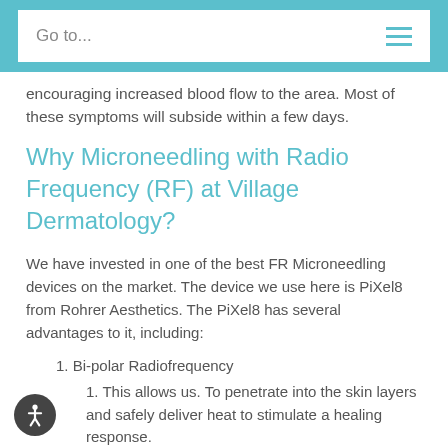Go to...
encouraging increased blood flow to the area. Most of these symptoms will subside within a few days.
Why Microneedling with Radio Frequency (RF) at Village Dermatology?
We have invested in one of the best FR Microneedling devices on the market. The device we use here is PiXel8 from Rohrer Aesthetics. The PiXel8 has several advantages to it, including:
Bi-polar Radiofrequency
This allows us. To penetrate into the skin layers and safely deliver heat to stimulate a healing response.
Optimal and uniform controlled RF energy is